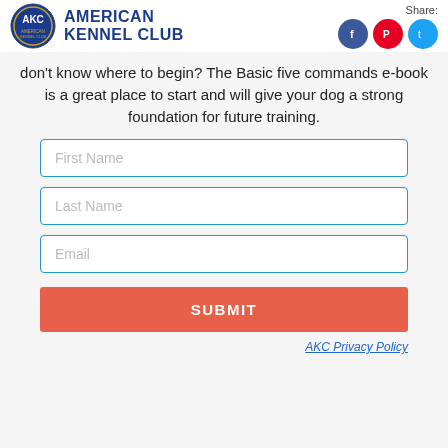American Kennel Club | Share:
don't know where to begin? The Basic five commands e-book is a great place to start and will give your dog a strong foundation for future training.
First Name
Last Name
Email
SUBMIT
AKC Privacy Policy